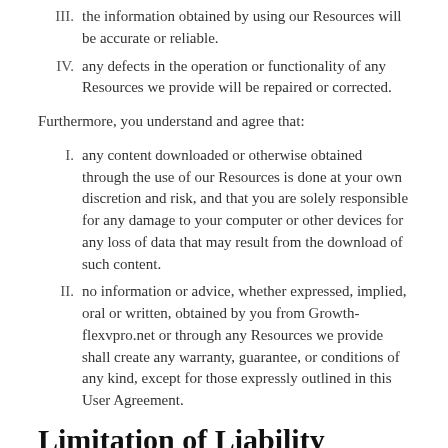III. the information obtained by using our Resources will be accurate or reliable.
IV. any defects in the operation or functionality of any Resources we provide will be repaired or corrected.
Furthermore, you understand and agree that:
I. any content downloaded or otherwise obtained through the use of our Resources is done at your own discretion and risk, and that you are solely responsible for any damage to your computer or other devices for any loss of data that may result from the download of such content.
II. no information or advice, whether expressed, implied, oral or written, obtained by you from Growth-flexvpro.net or through any Resources we provide shall create any warranty, guarantee, or conditions of any kind, except for those expressly outlined in this User Agreement.
Limitation of Liability
The word "liability," as used in the terms, means any and all damages, claims, proceedings, actions, awards, expenses, costs and other losses. 1) In conjunction with the Limitation of Warranties as explained above, you expressly understand and agree that any